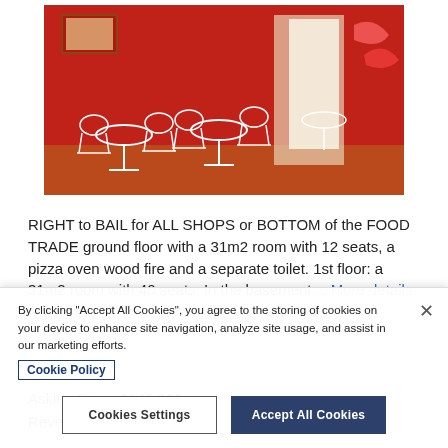[Figure (photo): Interior of a restaurant with red walls, white wicker/metal chairs and small tables, with a door visible in the background]
RIGHT to BAIL for ALL SHOPS or BOTTOM of the FOOD TRADE ground floor with a 31m2 room with 12 seats, a pizza oven wood fire and a separate toilet. 1st floor: a 31m2 room with 40 seats. In the basement… More details »
Asking Price: €145,000
Revenue: On request
By clicking "Accept All Cookies", you agree to the storing of cookies on your device to enhance site navigation, analyze site usage, and assist in our marketing efforts.
Cookie Policy
Cookies Settings
Accept All Cookies